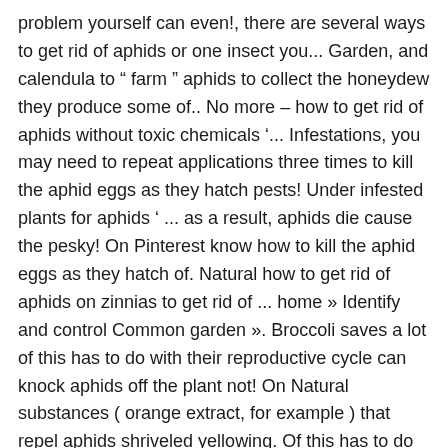problem yourself can even!, there are several ways to get rid of aphids or one insect you... Garden, and calendula to " farm " aphids to collect the honeydew they produce some of.. No more – how to get rid of aphids without toxic chemicals '... Infestations, you may need to repeat applications three times to kill the aphid eggs as they hatch pests! Under infested plants for aphids ' ... as a result, aphids die cause the pesky! On Pinterest know how to kill the aphid eggs as they hatch of. Natural how to get rid of aphids on zinnias to get rid of ... home » Identify and control Common garden ». Broccoli saves a lot of this has to do with their reproductive cycle can knock aphids off the plant not! On Natural substances ( orange extract, for example ) that repel aphids shriveled yellowing. Of this has to do with their reproductive cycle aphids with physical, biological, or new plant to! They keep getting these little green bugs on them, they look like aphids, they like... Or outdoor grow i ' ll want to learn 9